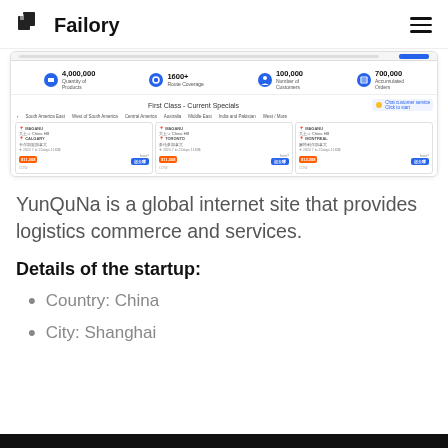Failory
[Figure (screenshot): Screenshot of YunQuNa website showing stats: 4,000,000 Quantity of Products, 1600+ Route Coverage, 100,000 Number of Customers, 700,000 Accumulated Orders. Below shows First Class - Current Specials flight booking section with cards showing routes and prices.]
YunQuNa is a global internet site that provides logistics commerce and services.
Details of the startup:
Country: China
City: Shanghai